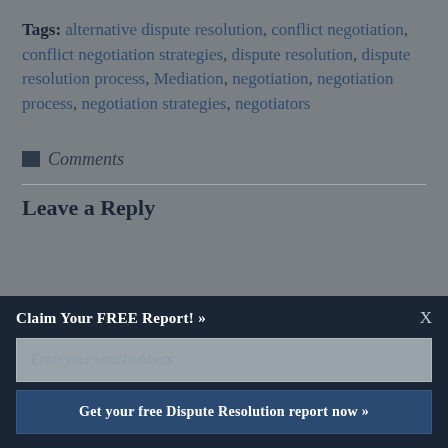Tags: alternative dispute resolution, conflict negotiation, conflict negotiation strategies, dispute resolution, dispute resolution process, Mediation, negotiation, negotiation process, negotiation strategies, negotiators
Comments
Leave a Reply
Claim Your FREE Report! »
Enter your email address
Get your free Dispute Resolution report now »